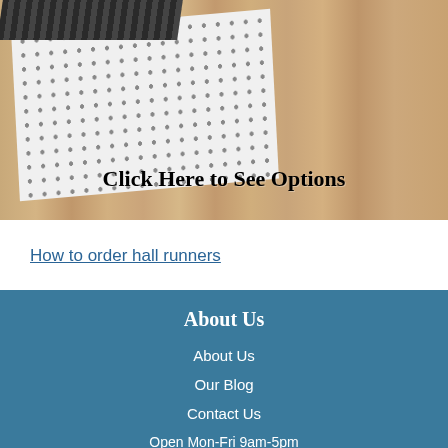[Figure (photo): Photo of a rug pad with dotted non-slip surface laid on a hardwood floor, with dark striped fabric visible at top. Text overlay reads 'Click Here to See Options'.]
How to order hall runners
About Us
About Us
Our Blog
Contact Us
Open Mon-Fri 9am-5pm